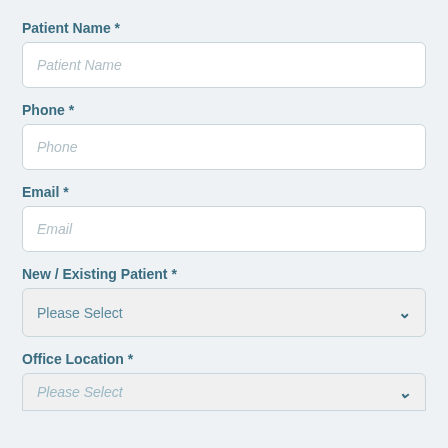Patient Name *
Patient Name (placeholder)
Phone *
Phone (placeholder)
Email *
Email (placeholder)
New / Existing Patient *
Please Select
Office Location *
Please Select